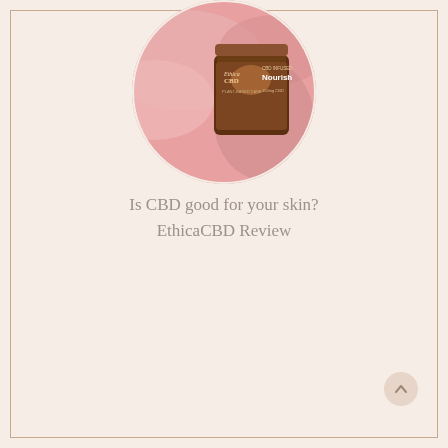[Figure (photo): Circular cropped photo of an EthicaCBD product jar labeled 'CBD Infused Nourish, Plant-Based Care, 150mg CBD' surrounded by pink silk/satin fabric]
Is CBD good for your skin?
EthicaCBD Review